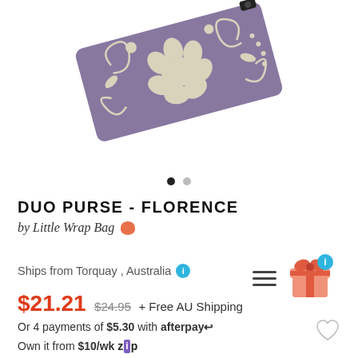[Figure (photo): A duo purse in purple/mauve with cream floral pattern, shown at an angle against white background]
DUO PURSE - FLORENCE
by Little Wrap Bag 🐨
Ships from Torquay , Australia ℹ
$21.21  $24.95 + Free AU Shipping
Or 4 payments of $5.30 with afterpay
Own it from $10/wk ZIP